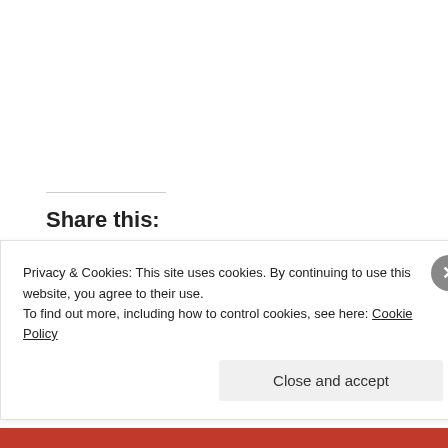Share this:
[Figure (infographic): Row of social sharing icon buttons: print, email, Facebook, Twitter, Pinterest, LinkedIn, Tumblr, Reddit, Pocket]
Privacy & Cookies: This site uses cookies. By continuing to use this website, you agree to their use.
To find out more, including how to control cookies, see here: Cookie Policy
Close and accept